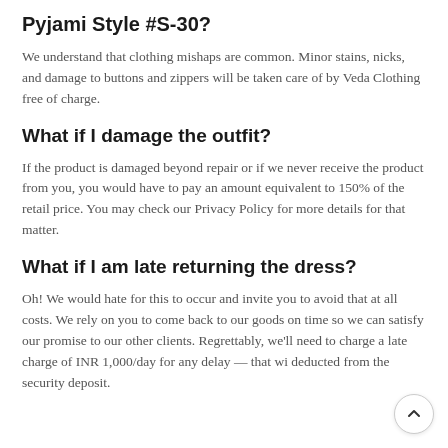Pyjami Style #S-30?
We understand that clothing mishaps are common. Minor stains, nicks, and damage to buttons and zippers will be taken care of by Veda Clothing free of charge.
What if I damage the outfit?
If the product is damaged beyond repair or if we never receive the product from you, you would have to pay an amount equivalent to 150% of the retail price. You may check our Privacy Policy for more details for that matter.
What if I am late returning the dress?
Oh! We would hate for this to occur and invite you to avoid that at all costs. We rely on you to come back to our goods on time so we can satisfy our promise to our other clients. Regrettably, we'll need to charge a late charge of INR 1,000/day for any delay — that wi deducted from the security deposit.